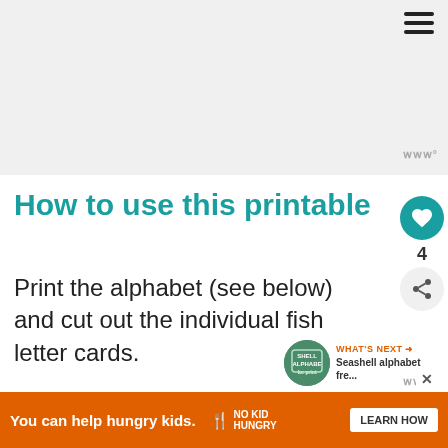[Figure (other): Top banner area showing a gray placeholder for a video or image, with hamburger menu icon in top right]
How to use this printable
Print the alphabet (see below) and cut out the individual fish letter cards.
You might like to laminate the fish for extra du...
[Figure (infographic): WHAT'S NEXT arrow widget showing Shell Alphabet thumbnail and text: Seashell alphabet fre...]
You can help hungry kids. NO KID HUNGRY LEARN HOW